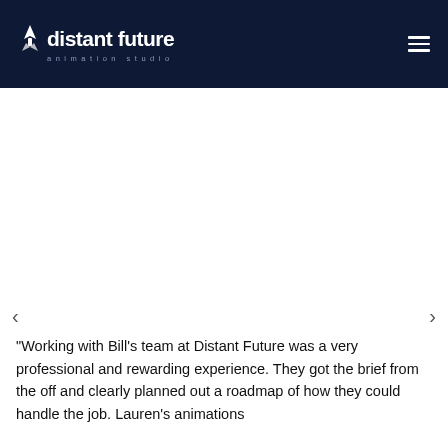distant future animation studio
[Figure (other): Large blank white area representing an image/slider placeholder in the main content area]
"Working with Bill's team at Distant Future was a very professional and rewarding experience. They got the brief from the off and clearly planned out a roadmap of how they could handle the job. Lauren's animations